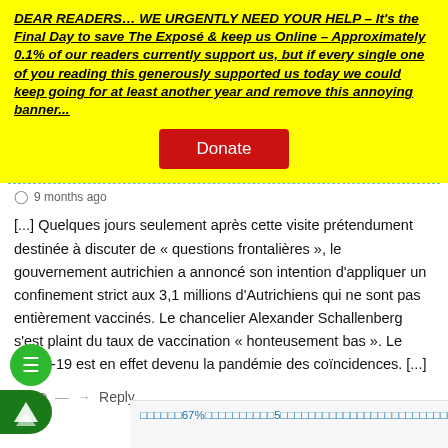DEAR READERS… WE URGENTLY NEED YOUR HELP – It's the Final Day to save The Exposé & keep us Online – Approximately 0.1% of our readers currently support us, but if every single one of you reading this generously supported us today we could keep going for at least another year and remove this annoying banner...
[Figure (other): Red Donate button on yellow background]
9 months ago
[...] Quelques jours seulement après cette visite prétendument destinée à discuter de « questions frontalières », le gouvernement autrichien a annoncé son intention d'appliquer un confinement strict aux 3,1 millions d'Autrichiens qui ne sont pas entièrement vaccinés. Le chancelier Alexander Schallenberg s'est plaint du taux de vaccination « honteusement bas ». Le Covid-19 est en effet devenu la pandémie des coïncidences. [...]
44 0 — → Reply
□□□□□□67%□□□□□□□□□□5□□□□□□□□□□□□□□□□□□□□□□□□□□□□